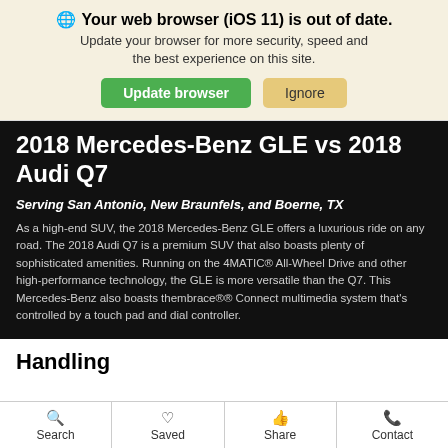Your web browser (iOS 11) is out of date. Update your browser for more security, speed and the best experience on this site.
2018 Mercedes-Benz GLE vs 2018 Audi Q7
Serving San Antonio, New Braunfels, and Boerne, TX
As a high-end SUV, the 2018 Mercedes-Benz GLE offers a luxurious ride on any road. The 2018 Audi Q7 is a premium SUV that also boasts plenty of sophisticated amenities. Running on the 4MATIC® All-Wheel Drive and other high-performance technology, the GLE is more versatile than the Q7. This Mercedes-Benz also boasts thembrace®® Connect multimedia system that's controlled by a touch pad and dial controller.
Handling
Search  Saved  Share  Contact